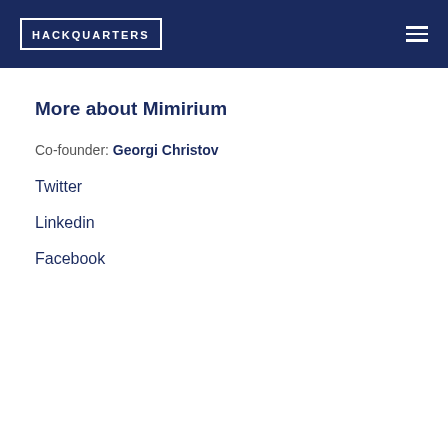HACKQUARTERS
More about Mimirium
Co-founder: Georgi Christov
Twitter
Linkedin
Facebook